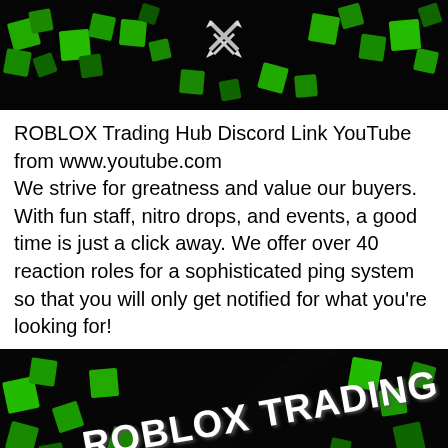[Figure (screenshot): Top banner image showing green 3D cubes/blocks on a dark black background with a crossed swords icon at the top center — Roblox Trading Hub banner.]
ROBLOX Trading Hub Discord Link YouTube from www.youtube.com
We strive for greatness and value our buyers. With fun staff, nitro drops, and events, a good time is just a click away. We offer over 40 reaction roles for a sophisticated ping system so that you will only get notified for what you're looking for!
[Figure (screenshot): Bottom banner image showing green 3D cubes/blocks on a dark black background with bold white text reading 'ROBLOX TRADING HUB' diagonally and 'DISCORD SERVER' below it — Roblox Trading Hub Discord Server promotional image.]